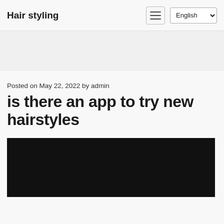Hair styling
Posted on May 22, 2022 by admin
is there an app to try new hairstyles
[Figure (photo): A black rectangular image area, possibly a video or photo placeholder]